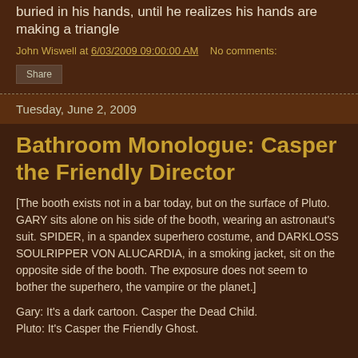buried in his hands, until he realizes his hands are making a triangle
John Wiswell at 6/03/2009 09:00:00 AM   No comments:
Share
Tuesday, June 2, 2009
Bathroom Monologue: Casper the Friendly Director
[The booth exists not in a bar today, but on the surface of Pluto. GARY sits alone on his side of the booth, wearing an astronaut's suit. SPIDER, in a spandex superhero costume, and DARKLOSS SOULRIPPER VON ALUCARDIA, in a smoking jacket, sit on the opposite side of the booth. The exposure does not seem to bother the superhero, the vampire or the planet.]
Gary: It's a dark cartoon. Casper the Dead Child.
Pluto: It's Casper the Friendly Ghost.